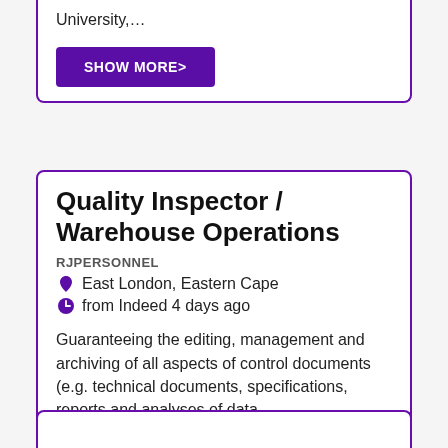University,…
SHOW MORE>
Quality Inspector / Warehouse Operations
RJPERSONNEL
East London, Eastern Cape
from Indeed 4 days ago
Guaranteeing the editing, management and archiving of all aspects of control documents (e.g. technical documents, specifications, reports and analyses of data…
SHOW MORE>